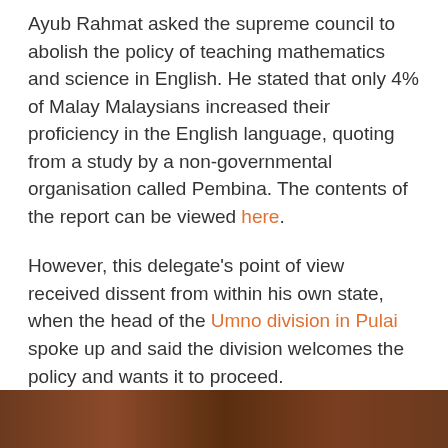Ayub Rahmat asked the supreme council to abolish the policy of teaching mathematics and science in English. He stated that only 4% of Malay Malaysians increased their proficiency in the English language, quoting from a study by a non-governmental organisation called Pembina. The contents of the report can be viewed here.
However, this delegate's point of view received dissent from within his own state, when the head of the Umno division in Pulai spoke up and said the division welcomes the policy and wants it to proceed.
Ayub's wasn't the lone voice against the policy. Kedah delegate Kamal Saidin made a statement saying he wanted Bahasa Malaysia to be brought back instead of using the "Jewish language".
[Figure (photo): Bottom edge of a dark brown/reddish photograph strip, partially visible]